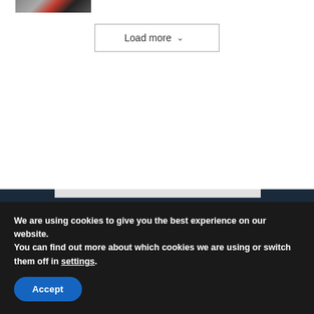[Figure (photo): Partial thumbnail image of a building/cityscape with red and dark tones, cropped at top-left]
Load more ∨
[Figure (screenshot): Light gray bar visible at the top of the dark footer section, representing a content region]
We are using cookies to give you the best experience on our website.
You can find out more about which cookies we are using or switch them off in settings.
Accept